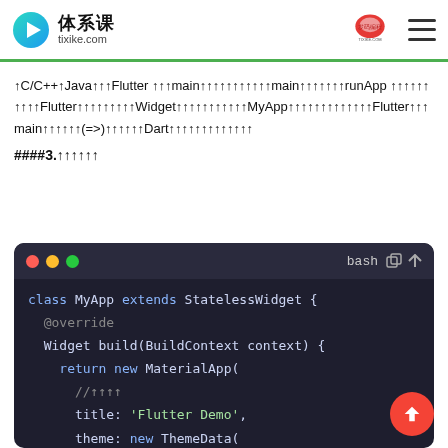体系课 tixike.com
↑C/C++↑Java↑↑↑Flutter ↑↑↑main↑↑↑↑↑↑↑↑↑↑↑main↑↑↑↑↑↑↑runApp ↑↑↑↑↑↑↑↑↑↑Flutter↑↑↑↑↑↑↑↑↑Widget↑↑↑↑↑↑↑↑↑↑↑MyApp↑↑↑↑↑↑↑↑↑↑↑↑↑Flutter↑↑↑main↑↑↑↑↑↑(=>)↑↑↑↑↑↑Dart↑↑↑↑↑↑↑↑↑↑↑↑↑
####3.↑↑↑↑↑↑
[Figure (screenshot): Code block in dark theme showing Dart/Flutter class MyApp extends StatelessWidget with build method returning new MaterialApp with title 'Flutter Demo' and theme ThemeData with primarySwatch Colors.blue]